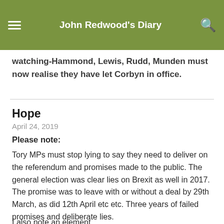John Redwood's Diary
watching-Hammond, Lewis, Rudd, Munden must now realise they have let Corbyn in office.
Hope
April 24, 2019
Please note:
Tory MPs must stop lying to say they need to deliver on the referendum and promises made to the public. The general election was clear lies on Brexit as well in 2017. The promise was to leave with or without a deal by 29th March, as did 12th April etc etc. Three years of failed promises and deliberate lies.
I also note an element...